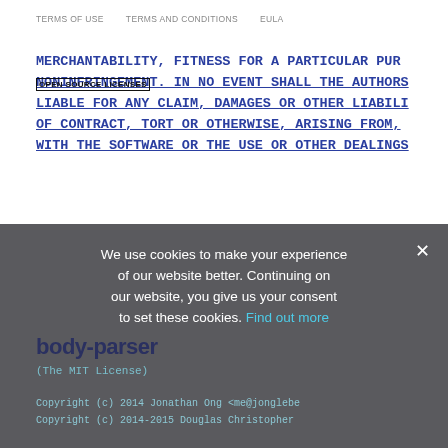TERMS OF USE    TERMS AND CONDITIONS    EULA
MERCHANTABILITY, FITNESS FOR A PARTICULAR PUR NONINFRINGEMENT. IN NO EVENT SHALL THE AUTHORS LIABLE FOR ANY CLAIM, DAMAGES OR OTHER LIABILI OF CONTRACT, TORT OR OTHERWISE, ARISING FROM, WITH THE SOFTWARE OR THE USE OR OTHER DEALINGS
OPEN SOURCE LICENSES
We use cookies to make your experience of our website better. Continuing on our website, you give us your consent to set these cookies. Find out more
body-parser
(The MIT License)
Copyright (c) 2014 Jonathan Ong <me@jonglebe Copyright (c) 2014-2015 Douglas Christopher